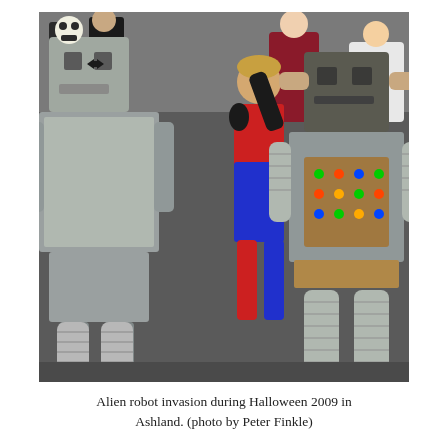[Figure (photo): A Halloween parade scene showing children and adults in costume. Two large homemade cardboard robot costumes are prominent — one silver on the left and one with a brown cardboard torso covered in colorful LED lights on the right. A child in a red and blue superhero costume stands between them, gesturing with a black-gloved hand raised. A crowd of costumed people is visible in the background.]
Alien robot invasion during Halloween 2009 in Ashland. (photo by Peter Finkle)